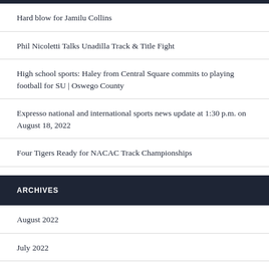Hard blow for Jamilu Collins
Phil Nicoletti Talks Unadilla Track & Title Fight
High school sports: Haley from Central Square commits to playing football for SU | Oswego County
Expresso national and international sports news update at 1:30 p.m. on August 18, 2022
Four Tigers Ready for NACAC Track Championships
ARCHIVES
August 2022
July 2022